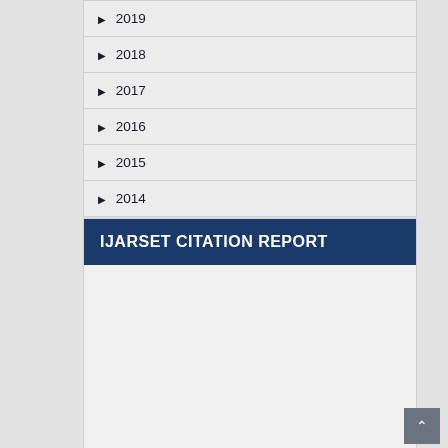▶ 2019
▶ 2018
▶ 2017
▶ 2016
▶ 2015
▶ 2014
IJARSET CITATION REPORT